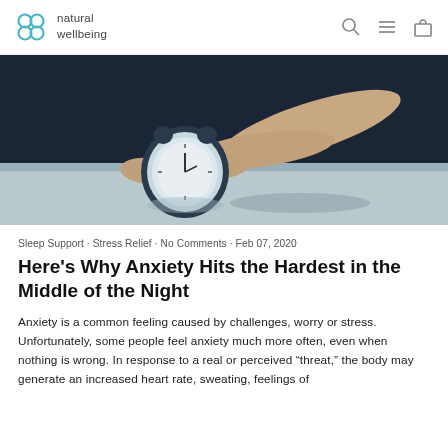natural wellbeing
[Figure (photo): A person's arm reaching out from under dark covers to touch or stop a silver alarm clock on a light surface, dark moody background.]
Sleep Support · Stress Relief · No Comments · Feb 07, 2020
Here's Why Anxiety Hits the Hardest in the Middle of the Night
Anxiety is a common feeling caused by challenges, worry or stress. Unfortunately, some people feel anxiety much more often, even when nothing is wrong. In response to a real or perceived “threat,” the body may generate an increased heart rate, sweating, feelings of